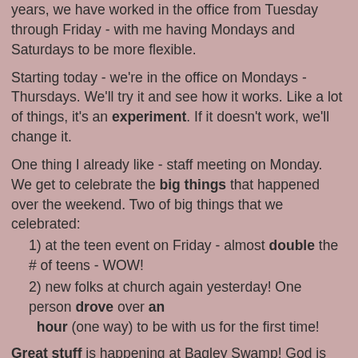We're trying something new here at the church. Since of years, we have worked in the office from Tuesday through Friday - with me having Mondays and Saturdays to be more flexible.
Starting today - we're in the office on Mondays - Thursdays. We'll try it and see how it works. Like a lot of things, it's an experiment. If it doesn't work, we'll change it.
One thing I already like - staff meeting on Monday. We get to celebrate the big things that happened over the weekend. Two of big things that we celebrated:
1) at the teen event on Friday - almost double the # of teens - WOW!
2) new folks at church again yesterday! One person drove over an hour (one way) to be with us for the first time!
Great stuff is happening at Bagley Swamp! God is good!
James Spaugh at 2:49 PM   1 comment:
Share